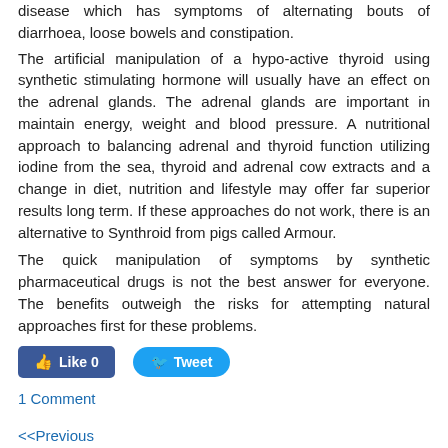disease which has symptoms of alternating bouts of diarrhoea, loose bowels and constipation.
The artificial manipulation of a hypo-active thyroid using synthetic stimulating hormone will usually have an effect on the adrenal glands. The adrenal glands are important in maintain energy, weight and blood pressure. A nutritional approach to balancing adrenal and thyroid function utilizing iodine from the sea, thyroid and adrenal cow extracts and a change in diet, nutrition and lifestyle may offer far superior results long term. If these approaches do not work, there is an alternative to Synthroid from pigs called Armour.
The quick manipulation of symptoms by synthetic pharmaceutical drugs is not the best answer for everyone. The benefits outweigh the risks for attempting natural approaches first for these problems.
[Figure (other): Social media buttons: Facebook Like (0) and Twitter Tweet]
1 Comment
<<Previous
Our Goals include helping as many people as possible to achieve their physical goals, to help them to heal and restore health and vitality. To